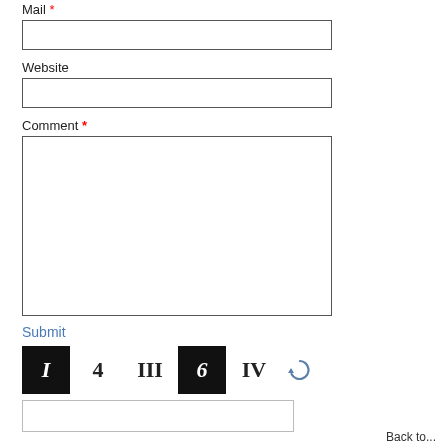Mail *
Website
Comment *
Submit
[Figure (other): CAPTCHA widget showing blocks with roman numerals and numbers: I (black box), 4, III, 6 (black box), IV, plus a refresh icon]
Back to...